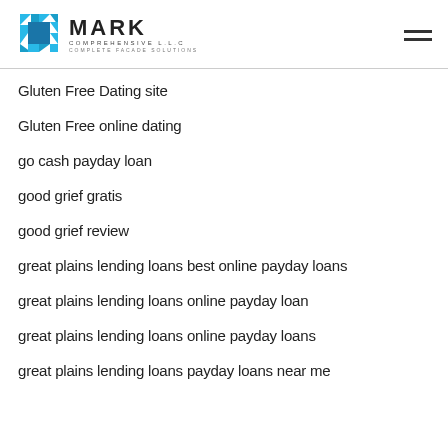MARK COMPREHENSIVE L.L.C — COMPLETE FACADE SOLUTIONS
Gluten Free Dating site
Gluten Free online dating
go cash payday loan
good grief gratis
good grief review
great plains lending loans best online payday loans
great plains lending loans online payday loan
great plains lending loans online payday loans
great plains lending loans payday loans near me